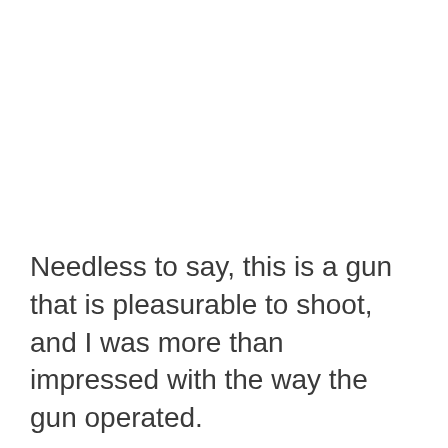Needless to say, this is a gun that is pleasurable to shoot, and I was more than impressed with the way the gun operated.